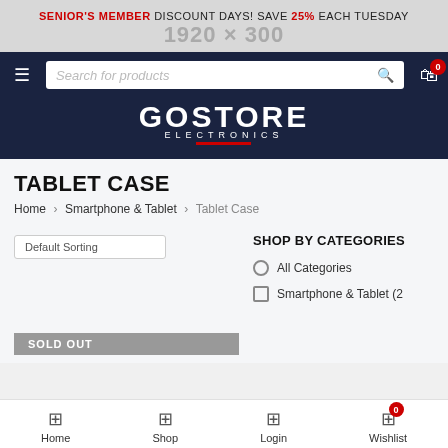SENIOR'S MEMBER DISCOUNT DAYS! SAVE 25% EACH TUESDAY
[Figure (screenshot): GoStore Electronics e-commerce website header with search bar and logo on dark navy background]
TABLET CASE
Home › Smartphone & Tablet › Tablet Case
SHOP BY CATEGORIES
All Categories
Smartphone & Tablet (2
Default Sorting
SOLD OUT
Home  Shop  Login  Wishlist  0